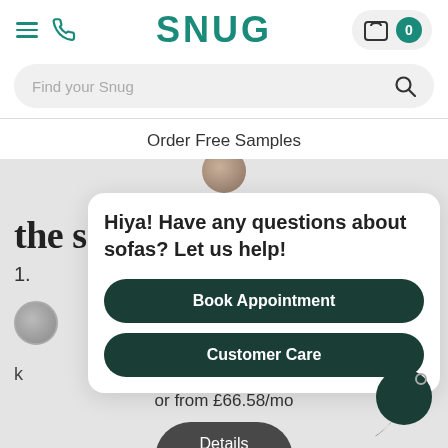SNUG
Find your Snug
Order Free Samples
the s
1.
Hiya! Have any questions about sofas? Let us help!
Book Appointment
Customer Care
or from £66.58/mo
Details